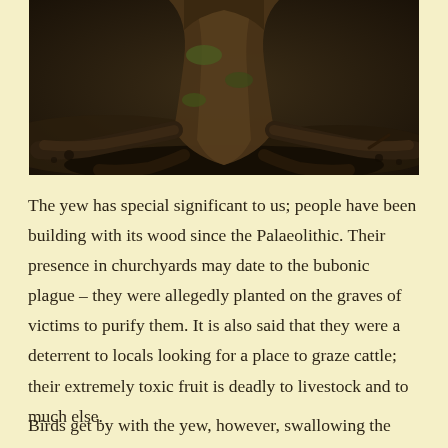[Figure (photo): Close-up photograph of the base of an ancient yew tree trunk, showing gnarled, moss-covered roots spreading across dark soil in a forest or churchyard setting.]
The yew has special significant to us; people have been building with its wood since the Palaeolithic. Their presence in churchyards may date to the bubonic plague – they were allegedly planted on the graves of victims to purify them. It is also said that they were a deterrent to locals looking for a place to graze cattle; their extremely toxic fruit is deadly to livestock and to much else.
Birds get by with the yew, however, swallowing the